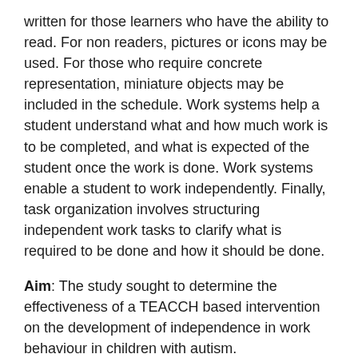written for those learners who have the ability to read. For non readers, pictures or icons may be used. For those who require concrete representation, miniature objects may be included in the schedule. Work systems help a student understand what and how much work is to be completed, and what is expected of the student once the work is done. Work systems enable a student to work independently. Finally, task organization involves structuring independent work tasks to clarify what is required to be done and how it should be done.
Aim: The study sought to determine the effectiveness of a TEACCH based intervention on the development of independence in work behaviour in children with autism.
Method: Twelve children with autism, randomly selected from four schools of Mumbai, participated in the study. The children were tested on Scale for